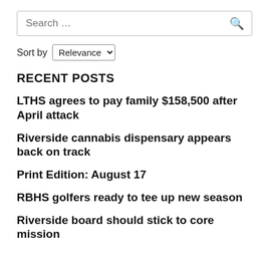[Figure (screenshot): Search input box with placeholder text 'Search …' and a magnifying glass icon on the right]
Sort by Relevance
RECENT POSTS
LTHS agrees to pay family $158,500 after April attack
Riverside cannabis dispensary appears back on track
Print Edition: August 17
RBHS golfers ready to tee up new season
Riverside board should stick to core mission